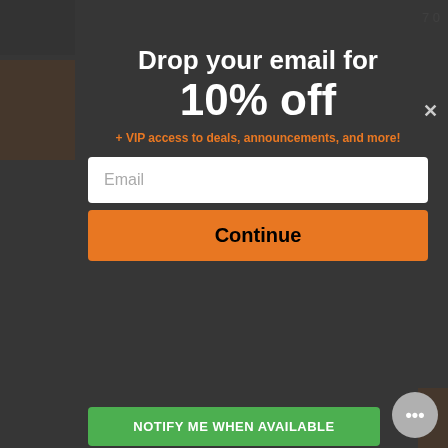Drop your email for 10% off
+ VIP access to deals, announcements, and more!
Email
Continue
NOTIFY ME WHEN AVAILABLE